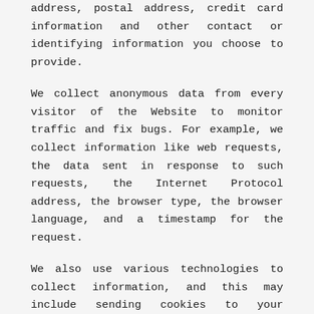address, postal address, credit card information and other contact or identifying information you choose to provide.
We collect anonymous data from every visitor of the Website to monitor traffic and fix bugs. For example, we collect information like web requests, the data sent in response to such requests, the Internet Protocol address, the browser type, the browser language, and a timestamp for the request.
We also use various technologies to collect information, and this may include sending cookies to your computer. Cookies are small data files stored on your hard drive or in your device memory that helps us to improve our services and your experience, see which areas and features of our services are popular and count visits. We may also collect information using web beacons (also known as "tracking pixels"). Web beacons are electronic